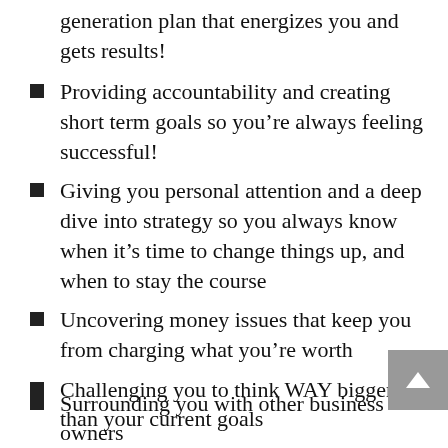generation plan that energizes you and gets results!
Providing accountability and creating short term goals so you’re always feeling successful!
Giving you personal attention and a deep dive into strategy so you always know when it’s time to change things up, and when to stay the course
Uncovering money issues that keep you from charging what you’re worth
Challenging you to think WAY bigger than your current goals
Surrounding you with other business owners